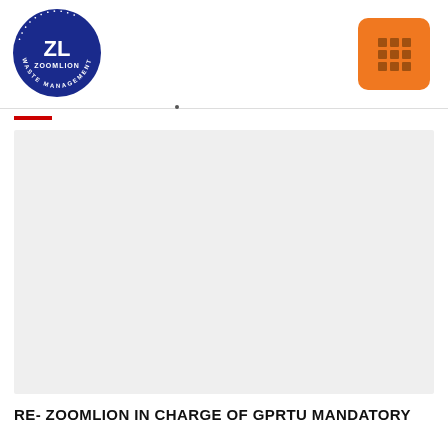[Figure (logo): Zoomlion Waste Management Experts circular logo in blue with white 'ZL' text and circular text around the edge]
[Figure (other): Orange rounded square menu/grid icon button in top right corner]
[Figure (photo): Large light grey rectangular image placeholder area]
RE- ZOOMLION IN CHARGE OF GPRTU MANDATORY